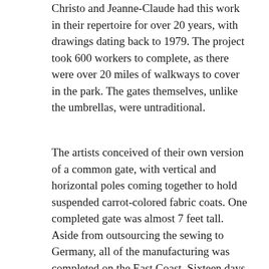Christo and Jeanne-Claude had this work in their repertoire for over 20 years, with drawings dating back to 1979. The project took 600 workers to complete, as there were over 20 miles of walkways to cover in the park. The gates themselves, unlike the umbrellas, were untraditional.
The artists conceived of their own version of a common gate, with vertical and horizontal poles coming together to hold suspended carrot-colored fabric coats. One completed gate was almost 7 feet tall. Aside from outsourcing the sewing to Germany, all of the manufacturing was completed on the East Coast. Sixteen days post-unveiling, the gates were deconstructed and the materials, once again, were recycled. And in tune with all their other projects, Christo and Jean-Claude were able to finance The Gates through the sale of their other works. Upon completing this work, in addition to its ephemeral